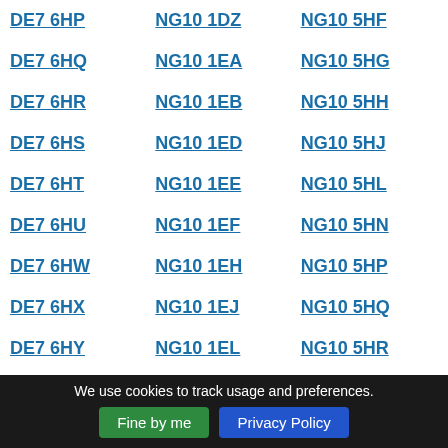DE7 6HP
NG10 1DZ
NG10 5HF
DE7 6HQ
NG10 1EA
NG10 5HG
DE7 6HR
NG10 1EB
NG10 5HH
DE7 6HS
NG10 1ED
NG10 5HJ
DE7 6HT
NG10 1EE
NG10 5HL
DE7 6HU
NG10 1EF
NG10 5HN
DE7 6HW
NG10 1EH
NG10 5HP
DE7 6HX
NG10 1EJ
NG10 5HQ
DE7 6HY
NG10 1EL
NG10 5HR
DE7 6HZ
NG10 1EP
NG10 5HS
DE7 6JA
NG10 1EQ
NG10 5HT
DE7 6JB
NG10 1ER
NG10 5HU
We use cookies to track usage and preferences.
Fine by me
Privacy Policy